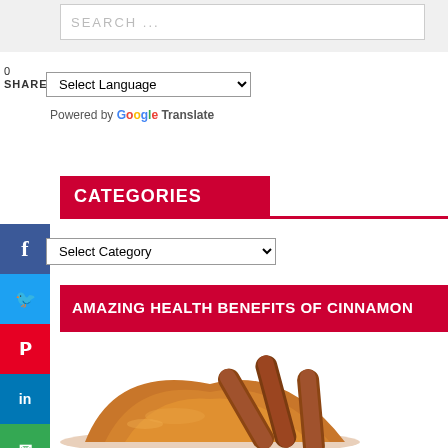SEARCH ...
0
SHARES
Select Language
Powered by Google Translate
CATEGORIES
Select Category
AMAZING HEALTH BENEFITS OF CINNAMON
[Figure (photo): Cinnamon sticks and cinnamon powder on a white background]